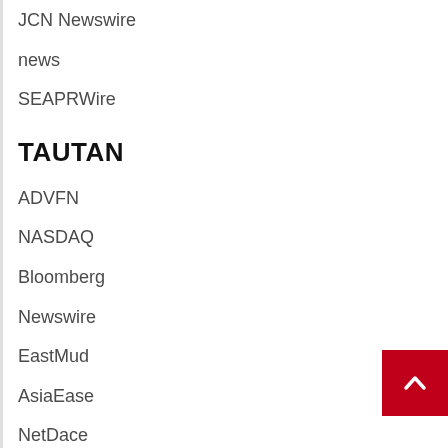JCN Newswire
news
SEAPRWire
TAUTAN
ADVFN
NASDAQ
Bloomberg
Newswire
EastMud
AsiaEase
NetDace
PostVN
VOASG
EventPH